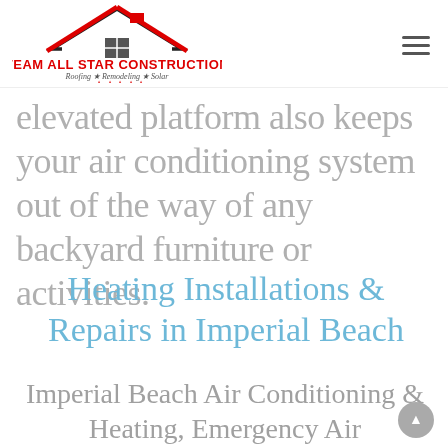[Figure (logo): Team All Star Construction logo with red roof icon and text 'TEAM ALL STAR CONSTRUCTION / Roofing ★ Remodeling ★ Solar' with five red stars and a red underline]
elevated platform also keeps your air conditioning system out of the way of any backyard furniture or activities.
Heating Installations & Repairs in Imperial Beach
Imperial Beach Air Conditioning & Heating, Emergency Air Conditioning,